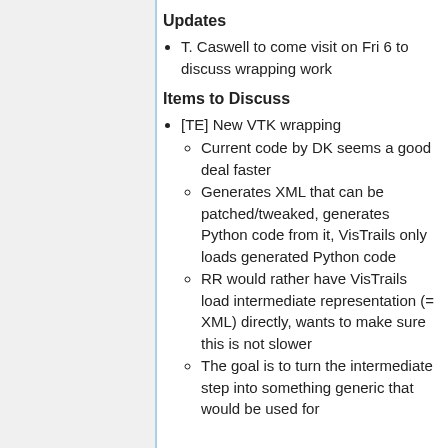Updates
T. Caswell to come visit on Fri 6 to discuss wrapping work
Items to Discuss
[TE] New VTK wrapping
Current code by DK seems a good deal faster
Generates XML that can be patched/tweaked, generates Python code from it, VisTrails only loads generated Python code
RR would rather have VisTrails load intermediate representation (= XML) directly, wants to make sure this is not slower
The goal is to turn the intermediate step into something generic that would be used for